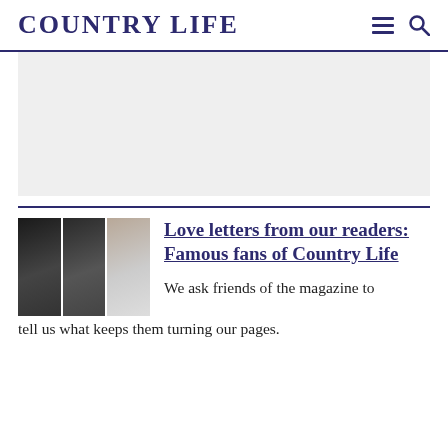COUNTRY LIFE
[Figure (other): Grey advertisement placeholder block]
Love letters from our readers: Famous fans of Country Life
We ask friends of the magazine to tell us what keeps them turning our pages.